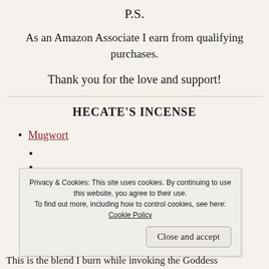P.S.
As an Amazon Associate I earn from qualifying purchases.
Thank you for the love and support!
HECATE'S INCENSE
Mugwort
Privacy & Cookies: This site uses cookies. By continuing to use this website, you agree to their use. To find out more, including how to control cookies, see here: Cookie Policy
Close and accept
This is the blend I burn while invoking the Goddess